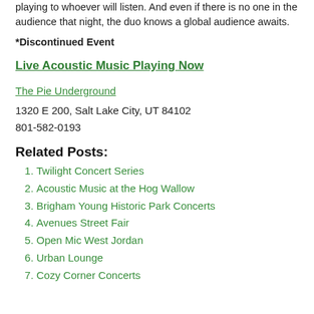playing to whoever will listen. And even if there is no one in the audience that night, the duo knows a global audience awaits.
*Discontinued Event
Live Acoustic Music Playing Now
The Pie Underground
1320 E 200, Salt Lake City, UT 84102
801-582-0193
Related Posts:
Twilight Concert Series
Acoustic Music at the Hog Wallow
Brigham Young Historic Park Concerts
Avenues Street Fair
Open Mic West Jordan
Urban Lounge
Cozy Corner Concerts